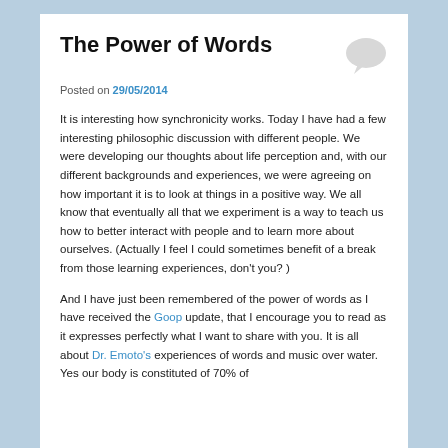The Power of Words
Posted on 29/05/2014
It is interesting how synchronicity works. Today I have had a few interesting philosophic discussion with different people. We were developing our thoughts about life perception and, with our different backgrounds and experiences, we were agreeing on how important it is to look at things in a positive way. We all know that eventually all that we experiment is a way to teach us how to better interact with people and to learn more about ourselves. (Actually I feel I could sometimes benefit of a break from those learning experiences, don't you? )
And I have just been remembered of the power of words as I have received the Goop update, that I encourage you to read as it expresses perfectly what I want to share with you. It is all about Dr. Emoto's experiences of words and music over water. Yes our body is constituted of 70% of